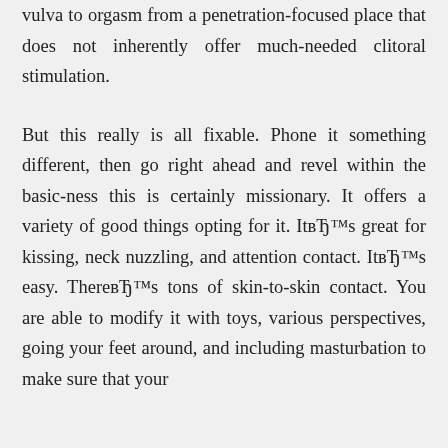vulva to orgasm from a penetration-focused place that does not inherently offer much-needed clitoral stimulation.
But this really is all fixable. Phone it something different, then go right ahead and revel within the basic-ness this is certainly missionary. It offers a variety of good things opting for it. ItвЂ™s great for kissing, neck nuzzling, and attention contact. ItвЂ™s easy. ThereвЂ™s tons of skin-to-skin contact. You are able to modify it with toys, various perspectives, going your feet around, and including masturbation to make sure that your